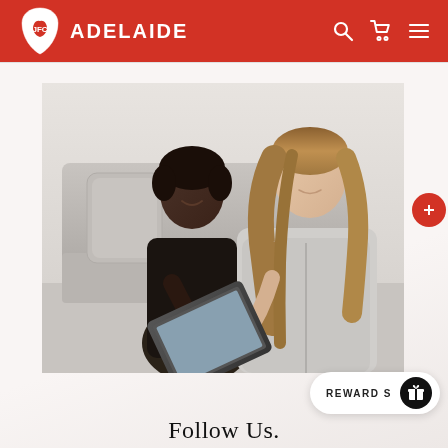JFC ADELAIDE ONLINE
[Figure (photo): Two women sitting on a couch together, one with dark skin wearing a black top and one with light skin wearing a grey cardigan, looking at a tablet device together]
REWARD S
Follow Us.